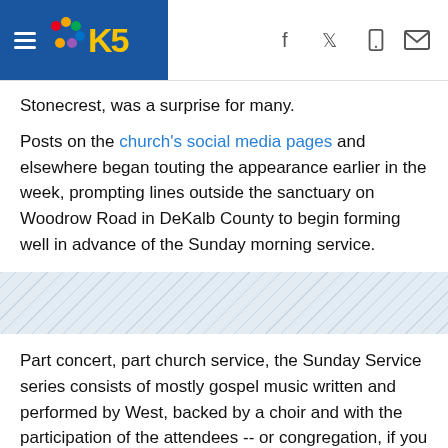KING5 News navigation header with hamburger menu, K5 logo, and social icons (Facebook, Twitter, mobile, email)
Stonecrest, was a surprise for many.
Posts on the church's social media pages and elsewhere began touting the appearance earlier in the week, prompting lines outside the sanctuary on Woodrow Road in DeKalb County to begin forming well in advance of the Sunday morning service.
[Figure (other): Diagonal hatched advertisement placeholder area]
Part concert, part church service, the Sunday Service series consists of mostly gospel music written and performed by West, backed by a choir and with the participation of the attendees -- or congregation, if you will.
West's Sunday Service appearances, primarily have